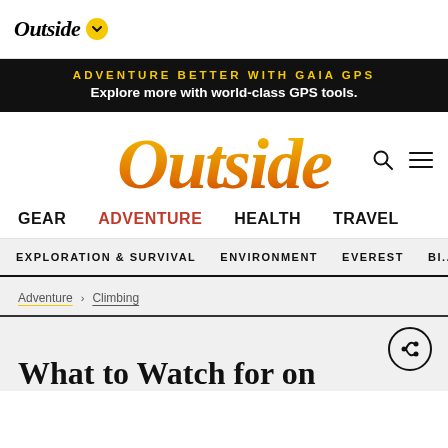Outside
ADVENTURE BETTER WITH GAIA GPS
Explore more with world-class GPS tools.
[Figure (logo): Outside magazine logo in yellow/orange gradient italic serif font]
GEAR  ADVENTURE  HEALTH  TRAVEL
EXPLORATION & SURVIVAL  ENVIRONMENT  EVEREST  BI...
Adventure > Climbing
What to Watch for on